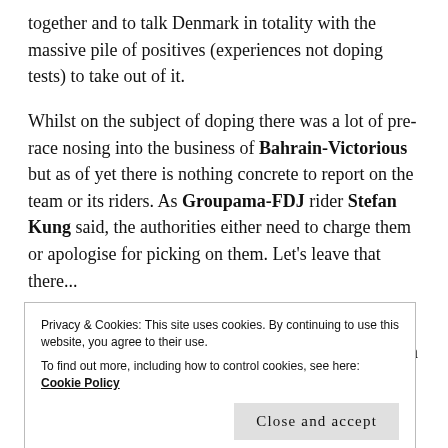together and to talk Denmark in totality with the massive pile of positives (experiences not doping tests) to take out of it.
Whilst on the subject of doping there was a lot of pre-race nosing into the business of Bahrain-Victorious but as of yet there is nothing concrete to report on the team or its riders. As Groupama-FDJ rider Stefan Kung said, the authorities either need to charge them or apologise for picking on them. Let's leave that there...
The first stage time trial produced a major upset. Despite most of the other Specialized riders wearing a funny bank
Privacy & Cookies: This site uses cookies. By continuing to use this website, you agree to their use.
To find out more, including how to control cookies, see here: Cookie Policy
Close and accept
before producing what on day 1 will be the quote of the race